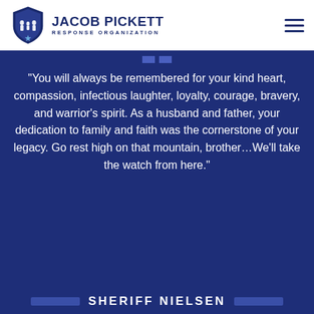[Figure (logo): Jacob Pickett Response Organization logo — shield with family silhouette and star, bold navy text JACOB PICKETT with subtitle RESPONSE ORGANIZATION]
“You will always be remembered for your kind heart, compassion, infectious laughter, loyalty, courage, bravery, and warrior’s spirit. As a husband and father, your dedication to family and faith was the cornerstone of your legacy. Go rest high on that mountain, brother…We’ll take the watch from here.”
SHERIFF NIELSEN